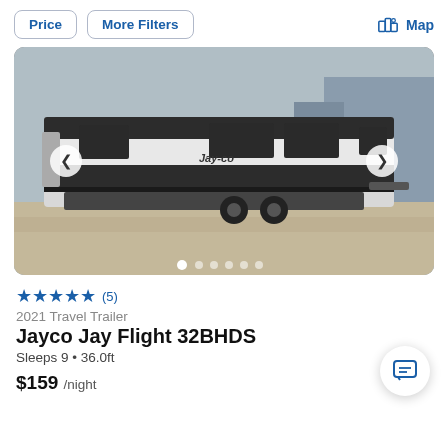Price | More Filters | Map
[Figure (photo): RV travel trailer (Jayco Jay Flight) parked in a concrete area, side view showing white and dark gray exterior with windows and slide-outs]
★★★★★ (5)
2021 Travel Trailer
Jayco Jay Flight 32BHDS
Sleeps 9 • 36.0ft
$159 /night